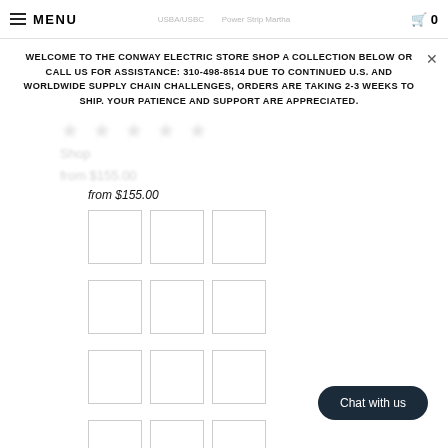MENU | [cart] 0
WELCOME TO THE CONWAY ELECTRIC STORE SHOP A COLLECTION BELOW OR CALL US FOR ASSISTANCE: 310-498-8514 DUE TO CONTINUED U.S. AND WORLDWIDE SUPPLY CHAIN CHALLENGES, ORDERS ARE TAKING 2-3 WEEKS TO SHIP. YOUR PATIENCE AND SUPPORT ARE APPRECIATED.
from $155.00
[Figure (screenshot): Grid of 5 rows by 3 columns of empty white product image placeholder boxes, partially loaded e-commerce product grid]
Chat with us